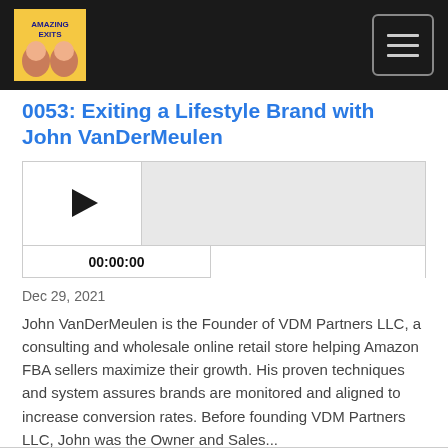Amazing Exits podcast logo and navigation
0053: Exiting a Lifestyle Brand with John VanDerMeulen
[Figure (other): Podcast audio player with play button, progress bar, and time display showing 00:00:00]
Dec 29, 2021
John VanDerMeulen is the Founder of VDM Partners LLC, a consulting and wholesale online retail store helping Amazon FBA sellers maximize their growth. His proven techniques and system assures brands are monitored and aligned to increase conversion rates. Before founding VDM Partners LLC, John was the Owner and Sales...
Read More